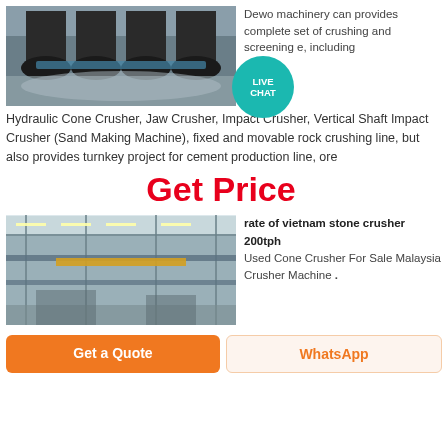[Figure (photo): Industrial machinery/cone crusher equipment in a factory setting]
Dewo machinery can provides complete set of crushing and screening equipment, including Hydraulic Cone Crusher, Jaw Crusher, Impact Crusher, Vertical Shaft Impact Crusher (Sand Making Machine), fixed and movable rock crushing line, but also provides turnkey project for cement production line, ore
[Figure (infographic): Live Chat button/bubble overlay in teal color]
Get Price
[Figure (photo): Large industrial factory interior with steel structure and overhead crane]
rate of vietnam stone crusher 200tph
Used Cone Crusher For Sale Malaysia Crusher Machine .
Get a Quote
WhatsApp